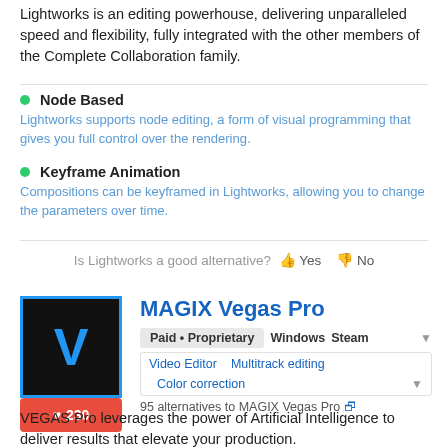Lightworks is an editing powerhouse, delivering unparalleled speed and flexibility, fully integrated with the other members of the Complete Collaboration family.
Node Based — Lightworks supports node editing, a form of visual programming that gives you full control over the rendering.
Keyframe Animation — Compositions can be keyframed in Lightworks, allowing you to change the parameters over time.
Is Lightworks a good alternative? 👍 Yes 👎 No
MAGIX Vegas Pro
Paid • Proprietary   Windows   Steam
Video Editor   Multitrack editing   Color correction
95 alternatives to MAGIX Vegas Pro
VEGAS Pro leverages the power of Artificial Intelligence to deliver results that elevate your production.